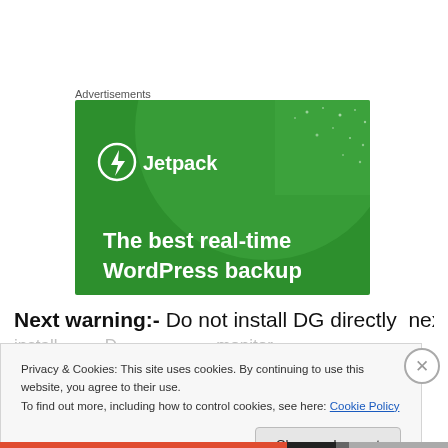Advertisements
[Figure (illustration): Jetpack advertisement banner with green background, circular light green shape, Jetpack logo with lightning bolt icon, and text 'The best real-time WordPress backup']
Next warning:-  Do not install DG directly  next to an
Privacy & Cookies: This site uses cookies. By continuing to use this website, you agree to their use. To find out more, including how to control cookies, see here: Cookie Policy
Close and accept